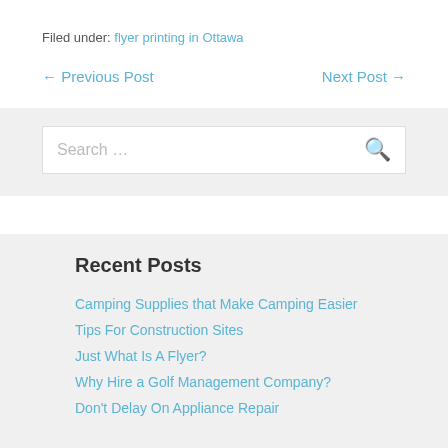Filed under: flyer printing in Ottawa
← Previous Post    Next Post →
Search …
Recent Posts
Camping Supplies that Make Camping Easier
Tips For Construction Sites
Just What Is A Flyer?
Why Hire a Golf Management Company?
Don't Delay On Appliance Repair